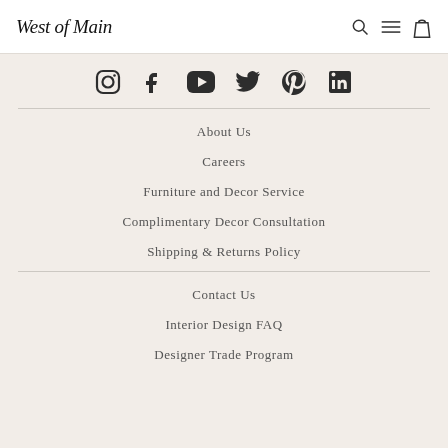West of Main
[Figure (logo): Social media icons: Instagram, Facebook, YouTube, Twitter, Pinterest, LinkedIn]
About Us
Careers
Furniture and Decor Service
Complimentary Decor Consultation
Shipping & Returns Policy
Contact Us
Interior Design FAQ
Designer Trade Program